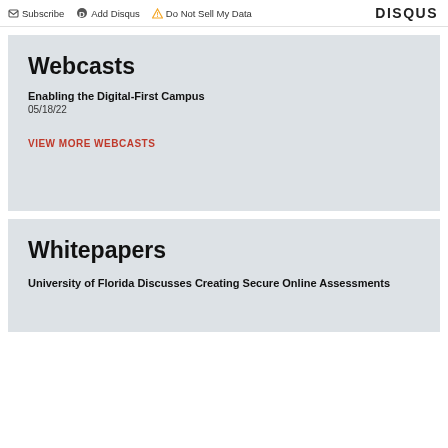Subscribe | Add Disqus | Do Not Sell My Data | DISQUS
Webcasts
Enabling the Digital-First Campus
05/18/22
VIEW MORE WEBCASTS
Whitepapers
University of Florida Discusses Creating Secure Online Assessments